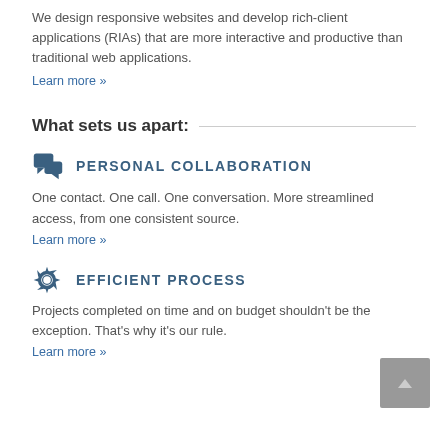We design responsive websites and develop rich-client applications (RIAs) that are more interactive and productive than traditional web applications.
Learn more »
What sets us apart:
PERSONAL COLLABORATION
One contact.  One call.  One conversation.  More streamlined access, from one consistent source.
Learn more »
EFFICIENT PROCESS
Projects completed on time and on budget shouldn't be the exception.  That's why it's our rule.
Learn more »